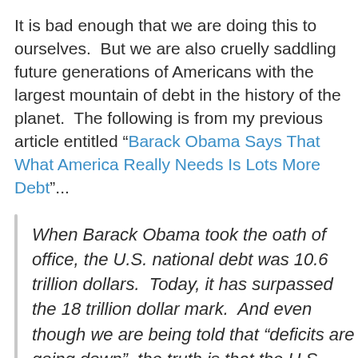It is bad enough that we are doing this to ourselves.  But we are also cruelly saddling future generations of Americans with the largest mountain of debt in the history of the planet.  The following is from my previous article entitled “Barack Obama Says That What America Really Needs Is Lots More Debt”...
When Barack Obama took the oath of office, the U.S. national debt was 10.6 trillion dollars.  Today, it has surpassed the 18 trillion dollar mark.  And even though we are being told that “deficits are going down”, the truth is that the U.S.